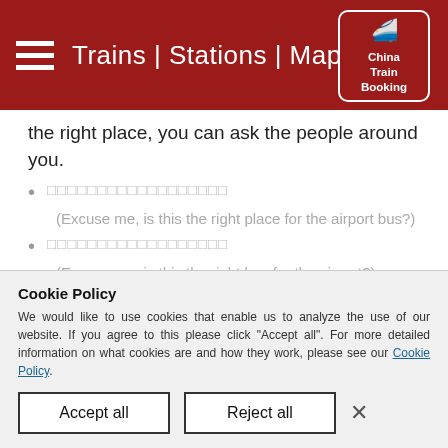Trains | Stations | Maps — China Train Booking
the right place, you can ask the people around you.
□□□□□□□□□□□□□□□□□□ (Excuse me, is this the right place for the airport bus?)
□□□□□□□□□□□□□□□□□□ (Excuse me, is this the right bus for the airport?)
Get to Guilin's Attractions from Guilin Railway Station
Cookie Policy
We would like to use cookies that enable us to analyze the use of our website. If you agree to this please click "Accept all". For more detailed information on what cookies are and how they work, please see our Cookie Policy.